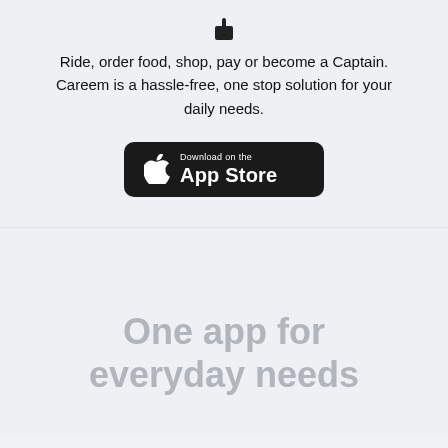[Figure (logo): Small phone/app icon at top center]
Ride, order food, shop, pay or become a Captain. Careem is a hassle-free, one stop solution for your daily needs.
[Figure (screenshot): Download on the App Store button with Apple logo]
One app for everyday needs